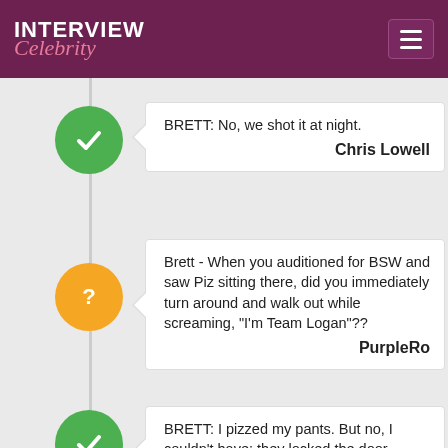INTERVIEW Celebrity
BRETT: No, we shot it at night.
Chris Lowell
Brett - When you auditioned for BSW and saw Piz sitting there, did you immediately turn around and walk out while screaming, "I'm Team Logan"??
PurpleRo
BRETT: I pizzed my pants. But no, I couldn't have: they locked the door.
Chris Lowell